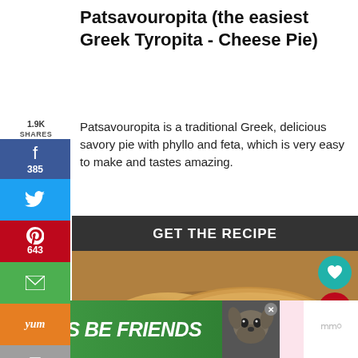Patsavouropita (the easiest Greek Tyropita - Cheese Pie)
Patsavouropita is a traditional Greek, delicious savory pie with phyllo and feta, which is very easy to make and tastes amazing.
GET THE RECIPE
[Figure (photo): Close-up photo of a sliced Greek cheese pie (Patsavouropita) showing golden-brown crust and herb-speckled interior, served on a plate with social sharing badges and a 'What's Next' thumbnail for Galopoula Gemisti.]
[Figure (infographic): Advertisement banner reading LET'S BE FRIENDS with a dog illustration and close button.]